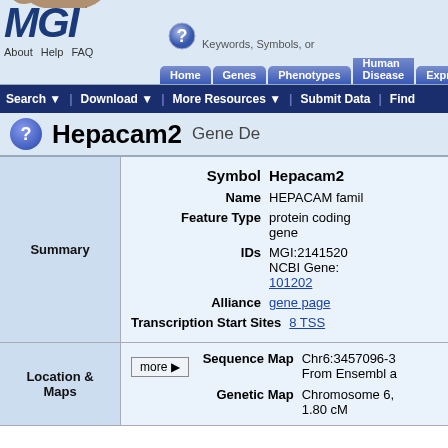MGI - Mouse Genome Informatics
Hepacam2 Gene Detail
| Section | Field | Value |
| --- | --- | --- |
| Summary | Symbol | Hepacam2 |
| Summary | Name | HEPACAM family member 2 |
| Summary | Feature Type | protein coding gene |
| Summary | IDs | MGI:2141520 NCBI Gene: 101202 |
| Summary | Alliance | gene page |
| Summary | Transcription Start Sites | 8 TSS |
| Location & Maps | Sequence Map | Chr6:3457096-3... From Ensembl a |
| Location & Maps | Genetic Map | Chromosome 6, 1.80 cM |